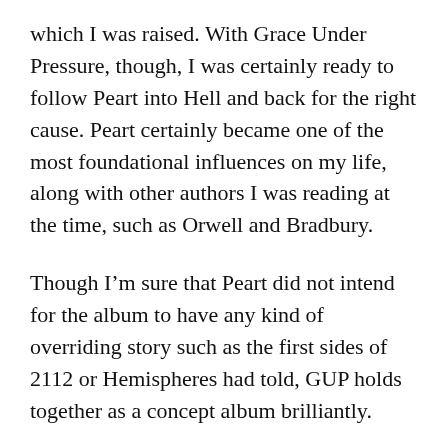which I was raised.  With Grace Under Pressure, though, I was certainly ready to follow Peart into Hell and back for the right cause.  Peart certainly became one of the most foundational influences on my life, along with other authors I was reading at the time, such as Orwell and Bradbury.
Though I'm sure that Peart did not intend for the album to have any kind of overriding story such as the first sides of  2112 or Hemispheres had told, GUP holds together as a concept album brilliantly.
The opening calls to us: beware!  Wake up!  Shake off your slumbers!  The world is near its doom.